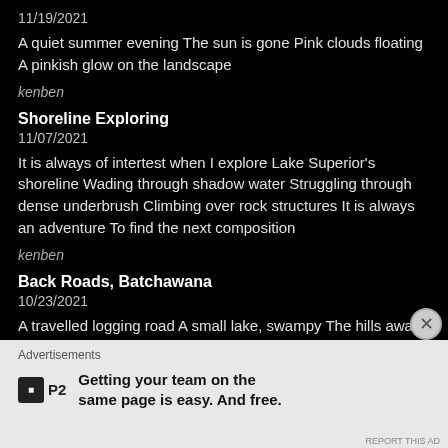11/19/2021
A quiet summer evening The sun is gone Pink clouds floating A pinkish glow on the landscape
kenben
Shoreline Exploring
11/07/2021
It is always of intertest when I explore Lake Superior's shoreline Wading through shadow water Struggling through dense underbrush Climbing over rock structures It is always an adventure To find the next composition
kenben
Back Roads, Batchawana
10/23/2021
A travelled logging road A small lake, swampy The hills awash in color Not a breath of a wind Artist reflections on calm waters A scene from the North Country Lake Superior country
Advertisements
Getting your team on the same page is easy. And free.